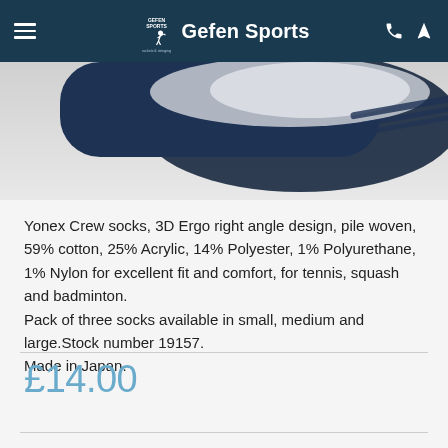Gefen Sports
[Figure (photo): Partial product image showing dark navy and white Yonex crew socks against a light grey background]
Yonex Crew socks, 3D Ergo right angle design, pile woven, 59% cotton, 25% Acrylic, 14% Polyester, 1% Polyurethane, 1% Nylon for excellent fit and comfort, for tennis, squash and badminton. Pack of three socks available in small, medium and large.Stock number 19157.
Made in Japan.
£14.00